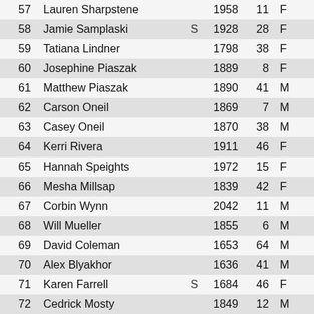| # | Name |  | Rating | Age |  |
| --- | --- | --- | --- | --- | --- |
| 57 | Lauren Sharpstene |  | 1958 | 11 | F |
| 58 | Jamie Samplaski | S | 1928 | 28 | F |
| 59 | Tatiana Lindner |  | 1798 | 38 | F |
| 60 | Josephine Piaszak |  | 1889 | 8 | F |
| 61 | Matthew Piaszak |  | 1890 | 41 | M |
| 62 | Carson Oneil |  | 1869 | 7 | M |
| 63 | Casey Oneil |  | 1870 | 38 | M |
| 64 | Kerri Rivera |  | 1911 | 46 | F |
| 65 | Hannah Speights |  | 1972 | 15 | F |
| 66 | Mesha Millsap |  | 1839 | 42 | F |
| 67 | Corbin Wynn |  | 2042 | 11 | M |
| 68 | Will Mueller |  | 1855 | 6 | M |
| 69 | David Coleman |  | 1653 | 64 | M |
| 70 | Alex Blyakhor |  | 1636 | 41 | M |
| 71 | Karen Farrell | S | 1684 | 46 | F |
| 72 | Cedrick Mosty |  | 1849 | 12 | M |
| 73 | Isabelle Wood |  | 2036 | 10 | F |